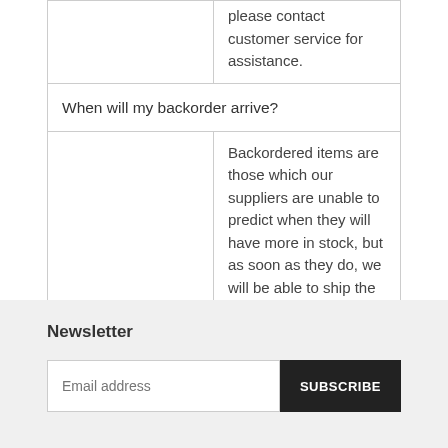|  | please contact customer service for assistance. |
| When will my backorder arrive? |  |
|  | Backordered items are those which our suppliers are unable to predict when they will have more in stock, but as soon as they do, we will be able to ship the item to you. |
Newsletter
Email address
SUBSCRIBE